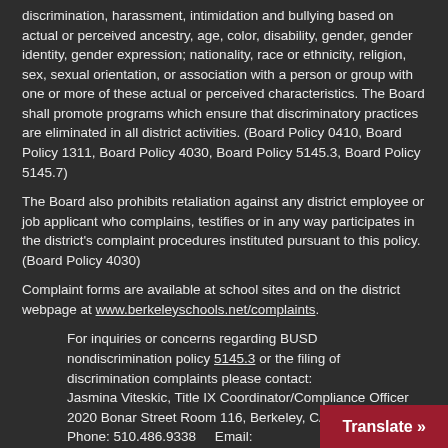discrimination, harassment, intimidation and bullying based on actual or perceived ancestry, age, color, disability, gender, gender identity, gender expression; nationality, race or ethnicity, religion, sex, sexual orientation, or association with a person or group with one or more of these actual or perceived characteristics. The Board shall promote programs which ensure that discriminatory practices are eliminated in all district activities. (Board Policy 0410, Board Policy 1311, Board Policy 4030, Board Policy 5145.3, Board Policy 5145.7)
The Board also prohibits retaliation against any district employee or job applicant who complains, testifies or in any way participates in the district's complaint procedures instituted pursuant to this policy. (Board Policy 4030)
Complaint forms are available at school sites and on the district webpage at www.berkeleyschools.net/complaints.
For inquiries or concerns regarding BUSD nondiscrimination policy 5145.3 or the filing of discrimination complaints please contact:
Jasmina Viteskic, Title IX Coordinator/Compliance Officer
2020 Bonar Street Room 116, Berkeley, CA 94702
Phone: 510.486.9338     Email: nondiscrimination@berkeley.net
More information is available at www.berkeleyschools.net/non-discrimination/.
Translate »